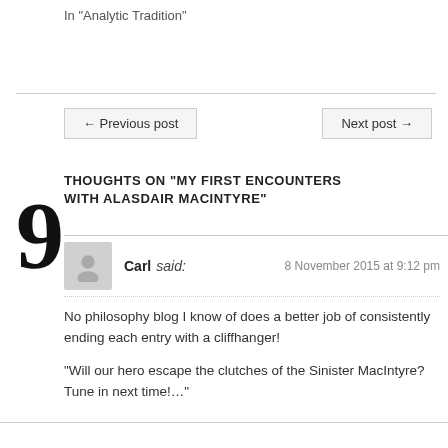In "Analytic Tradition"
← Previous post
Next post →
9 THOUGHTS ON "MY FIRST ENCOUNTERS WITH ALASDAIR MACINTYRE"
Carl said: 8 November 2015 at 9:12 pm
No philosophy blog I know of does a better job of consistently ending each entry with a cliffhanger!

"Will our hero escape the clutches of the Sinister MacIntyre? Tune in next time!…"